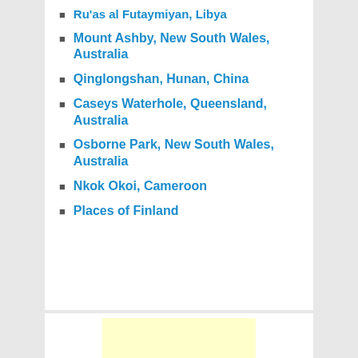Ru'as al Futaymiyan, Libya
Mount Ashby, New South Wales, Australia
Qinglongshan, Hunan, China
Caseys Waterhole, Queensland, Australia
Osborne Park, New South Wales, Australia
Nkok Okoi, Cameroon
Places of Finland
[Figure (other): Yellow advertisement/content box at bottom of page]